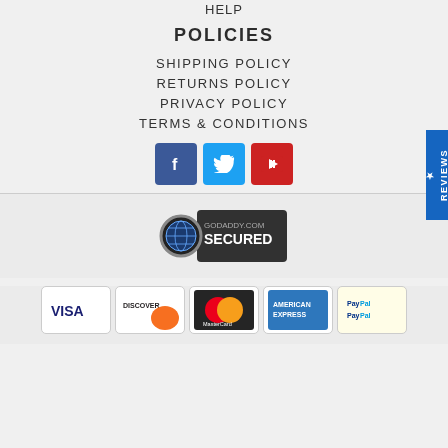HELP
POLICIES
SHIPPING POLICY
RETURNS POLICY
PRIVACY POLICY
TERMS & CONDITIONS
[Figure (infographic): Social media icons: Facebook (blue), Twitter (light blue), YouTube (red)]
[Figure (logo): GoDaddy.com Secured badge with globe/lock icon]
[Figure (infographic): Payment method icons: Visa, Discover, MasterCard, American Express, PayPal]